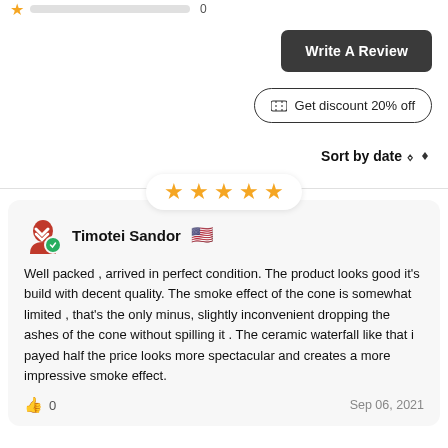[Figure (other): Partial star rating bar at top of page with one gold star visible and a rating bar]
Write A Review
Get discount 20% off
Sort by date
[Figure (other): Five gold star rating displayed in a white pill/badge centered above the review card]
Timotei Sandor 🇺🇸
Well packed , arrived in perfect condition. The product looks good it's build with decent quality. The smoke effect of the cone is somewhat limited , that's the only minus, slightly inconvenient dropping the ashes of the cone without spilling it . The ceramic waterfall like that i payed half the price looks more spectacular and creates a more impressive smoke effect.
👍 0
Sep 06, 2021